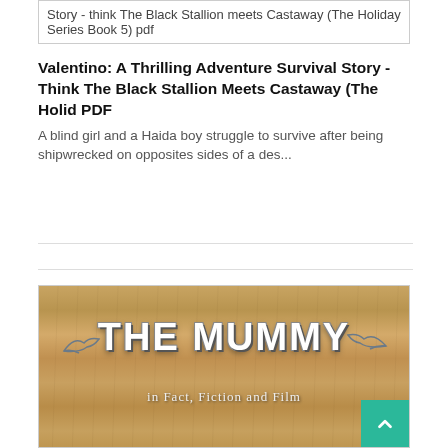Story - think The Black Stallion meets Castaway (The Holiday Series Book 5) pdf
Valentino: A Thrilling Adventure Survival Story - Think The Black Stallion Meets Castaway (The Holid PDF
A blind girl and a Haida boy struggle to survive after being shipwrecked on opposites sides of a des...
[Figure (photo): Wooden background image with text 'THE MUMMY in Fact, Fiction and Film' with decorative bird silhouettes on either side]